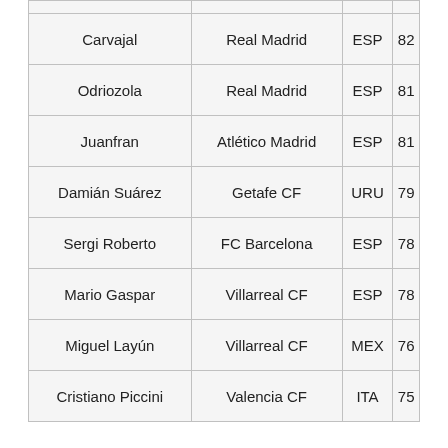| Carvajal | Real Madrid | ESP | 82 |
| Odriozola | Real Madrid | ESP | 81 |
| Juanfran | Atlético Madrid | ESP | 81 |
| Damián Suárez | Getafe CF | URU | 79 |
| Sergi Roberto | FC Barcelona | ESP | 78 |
| Mario Gaspar | Villarreal CF | ESP | 78 |
| Miguel Layún | Villarreal CF | MEX | 76 |
| Cristiano Piccini | Valencia CF | ITA | 75 |